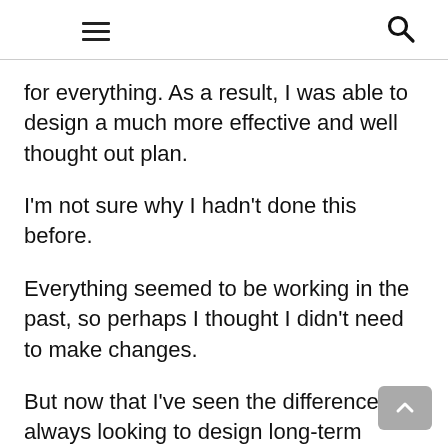[hamburger menu icon] [search icon]
for everything. As a result, I was able to design a much more effective and well thought out plan.
I'm not sure why I hadn't done this before.
Everything seemed to be working in the past, so perhaps I thought I didn't need to make changes.
But now that I've seen the difference, I'm always looking to design long-term plans.